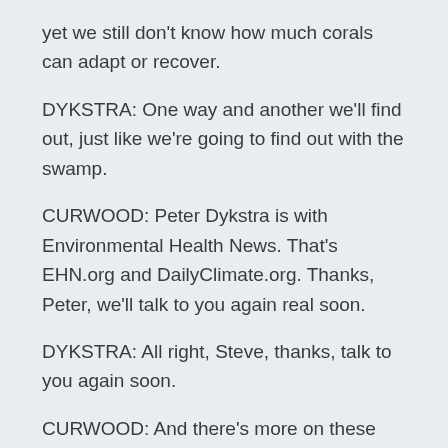yet we still don't know how much corals can adapt or recover.
DYKSTRA: One way and another we'll find out, just like we're going to find out with the swamp.
CURWOOD: Peter Dykstra is with Environmental Health News. That's EHN.org and DailyClimate.org. Thanks, Peter, we'll talk to you again real soon.
DYKSTRA: All right, Steve, thanks, talk to you again soon.
CURWOOD: And there's more on these stories at our website, LOE.org.
Links
York Dispatch: "U.S. fails to enforce smog rules, says Pa., 13 other states"